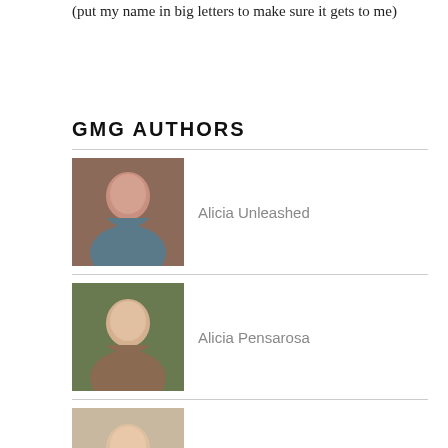(put my name in big letters to make sure it gets to me)
GMG AUTHORS
Alicia Unleashed
Alicia Pensarosa
Joanne
Joey Ciaramitaro
Marty Luster